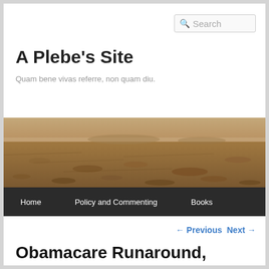Search
A Plebe's Site
Quam bene vivas referre, non quam diu.
[Figure (photo): Panoramic landscape photo of a Mars-like desert terrain with reddish-brown rocky ground and hazy horizon]
Home  Policy and Commenting  Books
← Previous   Next →
Obamacare Runaround,